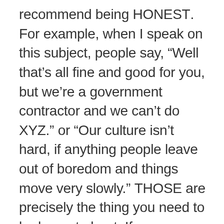recommend being HONEST. For example, when I speak on this subject, people say, “Well that’s all fine and good for you, but we’re a government contractor and we can’t do XYZ.” or “Our culture isn’t hard, if anything people leave out of boredom and things move very slowly.” THOSE are precisely the thing you need to be honest about. If you are sitting across from an eager beaver or a clear non-conformist, it’s your job to tell them all the things about the job that likely will irk them from day one. By doing this, you will attract the people that will thrive in an environment like yours, challenge those who are determined to shake things up (not always a bad thing) and